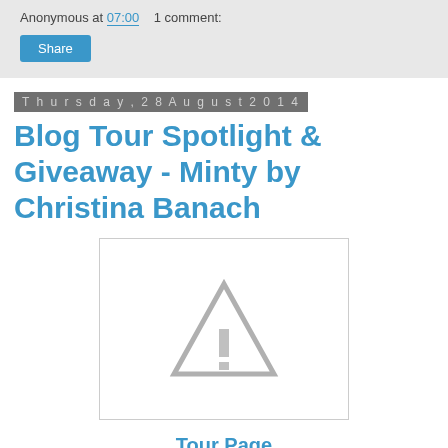Anonymous at 07:00    1 comment:
Share
Thursday, 28 August 2014
Blog Tour Spotlight & Giveaway - Minty by Christina Banach
[Figure (other): Image placeholder with warning/error triangle icon indicating a missing or unavailable image]
Tour Page
[Figure (other): Second image placeholder, partially visible at bottom of page]